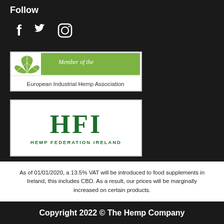Follow
[Figure (illustration): Social media icons: Facebook, Twitter, Instagram]
[Figure (logo): EIHA - Member of the European Industrial Hemp Association logo]
[Figure (logo): HFI - Hemp Federation Ireland logo]
As of 01/01/2020, a 13.5% VAT will be introduced to food supplements in Ireland, this includes CBD. As a result, our prices will be marginally increased on certain products.
Copyright 2022 © The Hemp Company
Privacy & Cookies Policy